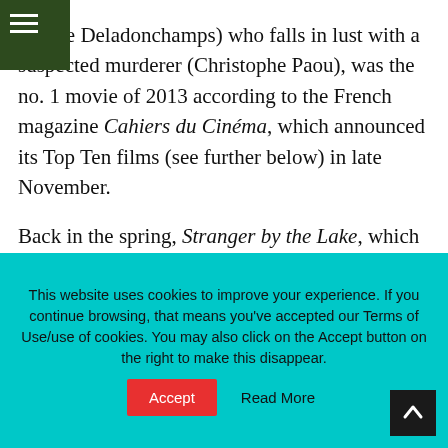(Pierre Deladonchamps) who falls in lust with a suspected murderer (Christophe Paou), was the no. 1 movie of 2013 according to the French magazine Cahiers du Cinéma, which announced its Top Ten films (see further below) in late November.
Back in the spring, Stranger by the Lake, which created a bit of a stir because of its sexually explicit scenes, won the Queer Palm at the Cannes
This website uses cookies to improve your experience. If you continue browsing, that means you've accepted our Terms of Use/use of cookies. You may also click on the Accept button on the right to make this disappear.